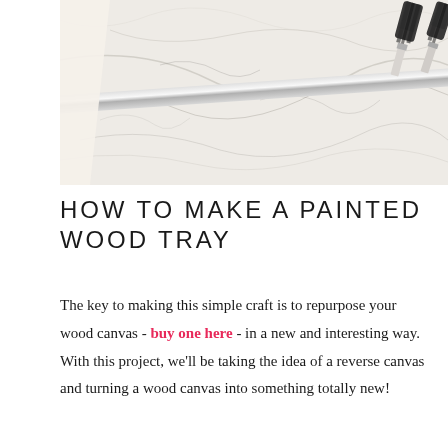[Figure (photo): Close-up photo of a marble-textured surface (wood canvas tray) with a silver metal bar/edge and two paint brushes with dark bristles resting diagonally across it. A cream/off-white edge is visible on the left side.]
HOW TO MAKE A PAINTED WOOD TRAY
The key to making this simple craft is to repurpose your wood canvas - buy one here - in a new and interesting way. With this project, we'll be taking the idea of a reverse canvas and turning a wood canvas into something totally new!